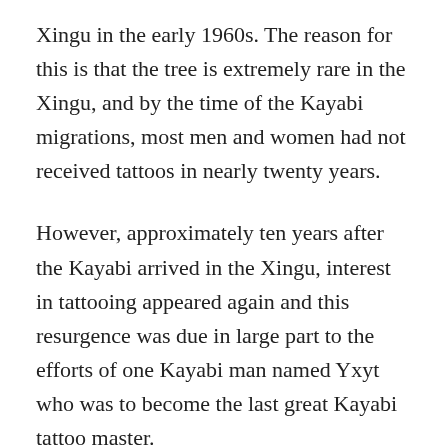Xingu in the early 1960s. The reason for this is that the tree is extremely rare in the Xingu, and by the time of the Kayabi migrations, most men and women had not received tattoos in nearly twenty years.
However, approximately ten years after the Kayabi arrived in the Xingu, interest in tattooing appeared again and this resurgence was due in large part to the efforts of one Kayabi man named Yxyt who was to become the last great Kayabi tattoo master.
THE LAST KAYABI TATTOO MASTER